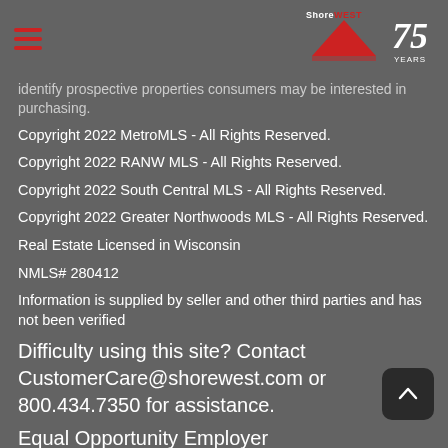Shorewest 75 Years
identify prospective properties consumers may be interested in purchasing.
Copyright 2022 MetroMLS - All Rights Reserved.
Copyright 2022 RANW MLS - All Rights Reserved.
Copyright 2022 South Central MLS - All Rights Reserved.
Copyright 2022 Greater Northwoods MLS - All Rights Reserved.
Real Estate Licensed in Wisconsin
NMLS# 280412
Information is supplied by seller and other third parties and has not been verified
Difficulty using this site? Contact CustomerCare@shorewest.com or 800.434.7350 for assistance.
Equal Opportunity Employer